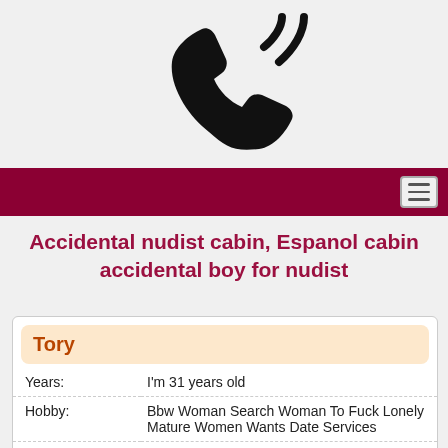[Figure (illustration): Phone handset icon with signal waves, black on light gray background]
Accidental nudist cabin, Espanol cabin accidental boy for nudist
| Field | Value |
| --- | --- |
| Years: | I'm 31 years old |
| Hobby: | Bbw Woman Search Woman To Fuck Lonely Mature Women Wants Date Services |
| Nationality: | French |
| Languages: | French |
| My Zodiac sign: | Sagittarius |
| I like to drink: | Cider |
| I like: | Blogging |